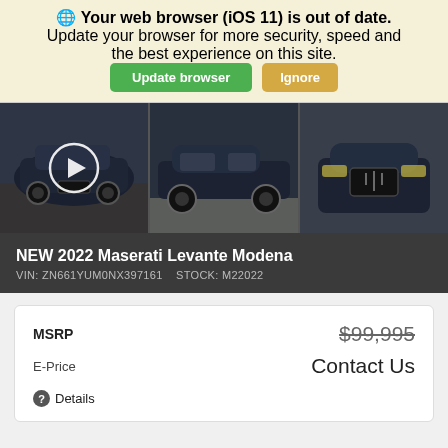🌐 Your web browser (iOS 11) is out of date. Update your browser for more security, speed and the best experience on this site.
[Figure (screenshot): Three photos of a dark blue Maserati Levante Modena SUV from different angles. The first image has a circular play button overlay indicating a video.]
NEW 2022 Maserati Levante Modena
VIN: ZN661YUM0NX397161   STOCK: M22022
|  |  |
| --- | --- |
| MSRP | $99,995 |
| E-Price | Contact Us |
| ❓ Details |  |